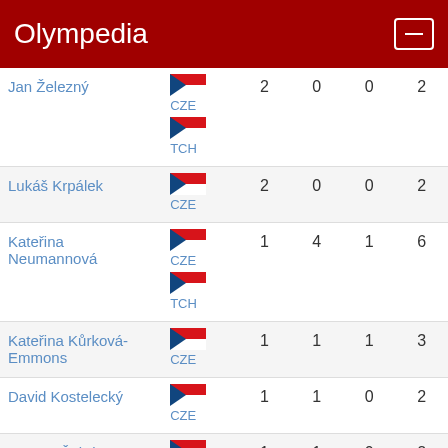Olympedia
| Athlete | Country | Gold | Silver | Bronze | Total |
| --- | --- | --- | --- | --- | --- |
| Jan Železný | CZE / TCH | 2 | 0 | 0 | 2 |
| Lukáš Krpálek | CZE | 2 | 0 | 0 | 2 |
| Kateřina Neumannová | CZE / TCH | 1 | 4 | 1 | 6 |
| Kateřina Kůrková-Emmons | CZE | 1 | 1 | 1 | 3 |
| David Kostelecký | CZE | 1 | 1 | 0 | 2 |
| Roman Šebrle | CZE | 1 | 1 | 0 | 2 |